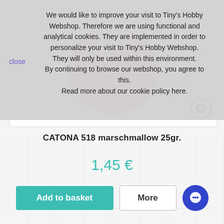[Figure (screenshot): Cookie consent overlay on a webshop page showing a yarn product (CATONA 518 marschmallow 25gr.) with pink yarn ball image, price 1,45€, Add to basket and More buttons]
We would like to improve your visit to Tiny's Hobby Webshop. Therefore we are using functional and analytical cookies. They are implemented in order to personalize your visit to Tiny's Hobby Webshop. They will only be used within this environment.
By continuing to browse our webshop, you agree to this.
Read more about our cookie policy here.
close
CATONA 518 marschmallow 25gr.
1,45 €
Add to basket
More